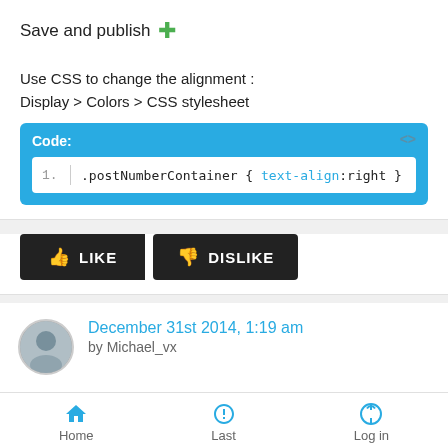Save and publish ✚
Use CSS to change the alignment :
Display > Colors > CSS stylesheet
[Figure (screenshot): Code block with blue header labeled 'Code:' and a white inner area showing line 1: .postNumberContainer { text-align:right }]
LIKE
DISLIKE
December 31st 2014, 1:19 am
by Michael_vx
@Ange Tuteur
is this code for phpbb2 or can work on any version 😊
i like to collect info 😊
thanks
Home   Last   Log in